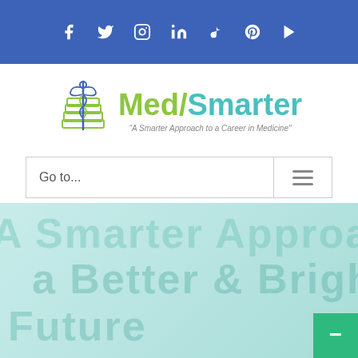Social media icons: Facebook, Twitter, Instagram, LinkedIn, TikTok, Pinterest, YouTube
[Figure (logo): MedSmarter logo with stacked books and caduceus icon. Text: Med/Smarter. Tagline: A Smarter Approach to a Career in Medicine]
Go to...
[Figure (infographic): Light teal hero banner with large semi-transparent watermark text reading 'A Smarter Approach to Future' and a green minus button in the bottom right corner]